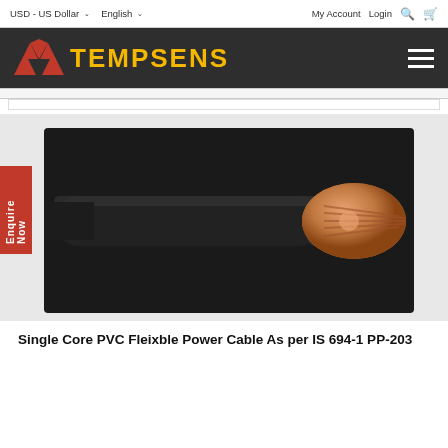USD - US Dollar   English   My Account Login
[Figure (logo): Tempsens logo with red maple leaf style icon and yellow TEMPSENS text on dark background]
[Figure (photo): Single Core PVC Flexible Power Cable showing black insulated cable with exposed copper stranded conductor end]
Single Core PVC Fleixble Power Cable As per IS 694-1 PP-203